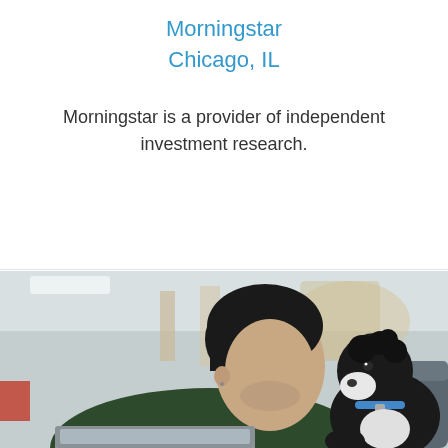Morningstar
Chicago, IL
Morningstar is a provider of independent investment research.
[Figure (photo): A man in a dark green sweater sitting on a couch with a laptop, looking at a black and white dog that appears to be looking back at him. Office environment in background.]